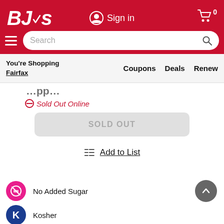BJ's - Sign in - Cart 0 - Search
You're Shopping Fairfax
Coupons  Deals  Renew
⊘Sold Out Online
SOLD OUT
Add to List
No Added Sugar
Kosher